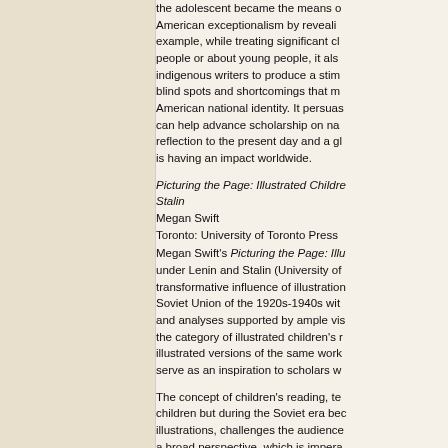the adolescent became the means of American exceptionalism by revealing example, while treating significant claims people or about young people, it also indigenous writers to produce a stimulus blind spots and shortcomings that me American national identity. It persuades can help advance scholarship on na reflection to the present day and a global is having an impact worldwide.
Picturing the Page: Illustrated Childre Stalin
Megan Swift
Toronto: University of Toronto Press
Megan Swift's Picturing the Page: Illustrated Children's Books under Lenin and Stalin (University of transformative influence of illustration Soviet Union of the 1920s-1940s with and analyses supported by ample vis the category of illustrated children's r illustrated versions of the same work serve as an inspiration to scholars w
The concept of children's reading, te children but during the Soviet era bed illustrations, challenges the audience a broad perspective, which is impera cultural production addressed to child professional divides. She also offers children's culture and into family and practices and positions the developm Western counterparts, stressing its s Swift applies her approach to post-So directions for further research.
2019